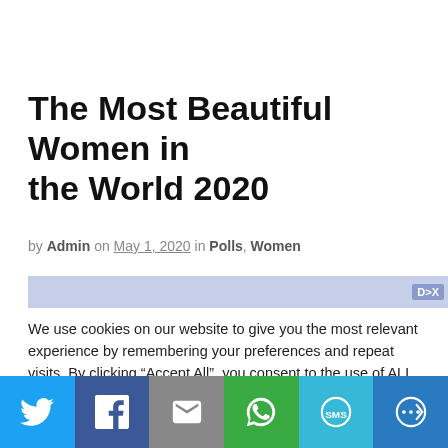The Most Beautiful Women in the World 2020
by Admin on May 1, 2020 in Polls, Women
[Figure (other): Advertisement banner bar (blue/grey)]
We use cookies on our website to give you the most relevant experience by remembering your preferences and repeat visits. By clicking “Accept All”, you consent to the use of ALL the cookies. However, you may visit “Cookie Settings” to provide a controlled consent.
[Figure (other): Social sharing bar with Twitter, Facebook, Email, WhatsApp, SMS, and More buttons]